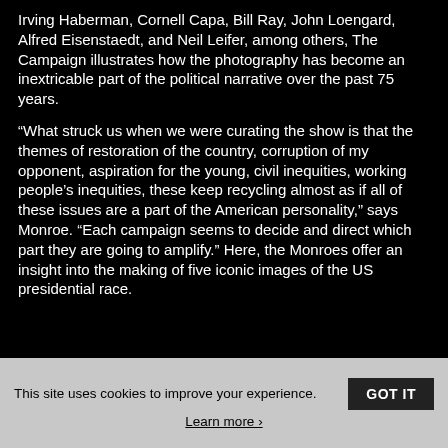Irving Haberman, Cornell Capa, Bill Ray, John Loengard, Alfred Eisenstaedt, and Neil Leifer, among others, The Campaign illustrates how the photography has become an inextricable part of the political narrative over the past 75 years.
“What struck us when we were curating the show is that the themes of restoration of the country, corruption of my opponent, aspiration for the young, civil inequities, working people’s inequities, these keep recycling almost as if all of these issues are a part of the American personality,” says Monroe. “Each campaign seems to decide and direct which part they are going to amplify.” Here, the Monroes offer an insight into the making of five iconic images of the US presidential race.
This site uses cookies to improve your experience. GOT IT Learn more ›